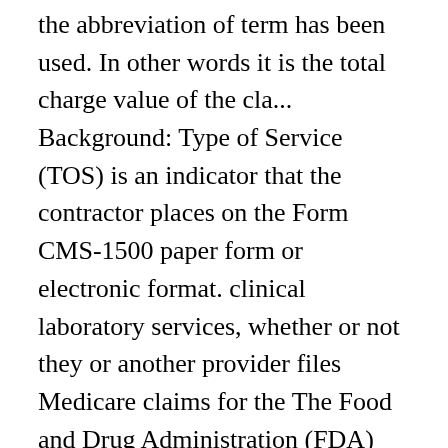the abbreviation of term has been used. In other words it is the total charge value of the cla... Background: Type of Service (TOS) is an indicator that the contractor places on the Form CMS-1500 paper form or electronic format. clinical laboratory services, whether or not they or another provider files Medicare claims for the The Food and Drug Administration (FDA) determines the criteria for tests being simple with a low risk of error and approves manufacturer's applications for test system waiver. A The Medical Review Department is responsible for several functions, including postprocedural review of claims for manually priced procedures and designated procedures and diagnoses which